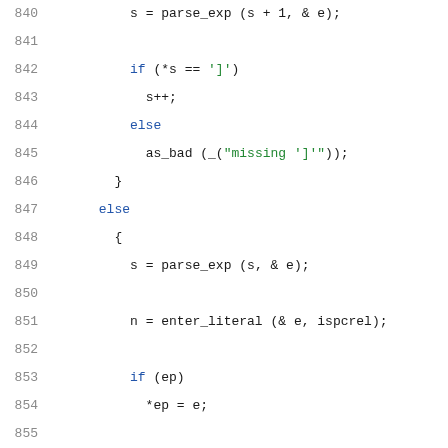[Figure (screenshot): Source code listing showing C code lines 840-860 with syntax highlighting. Line numbers in gray on the left, keywords in blue, strings in green, comments in dark red/orange, and regular code in dark color.]